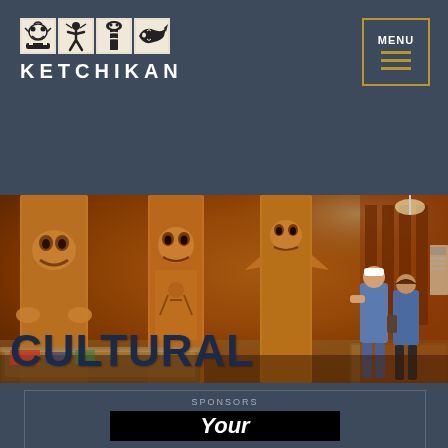[Figure (logo): Ketchikan logo with four decorative tiles showing indigenous art motifs and the text KETCHIKAN below]
[Figure (other): Menu button with gold border, MENU text, and three horizontal gold lines (hamburger icon)]
[Figure (photo): Interior of a museum showing large totem poles carved from wood, with display cases in the foreground and two visitors in the background browsing exhibits in warm amber lighting]
CULTURAL
SPONSORS
Your